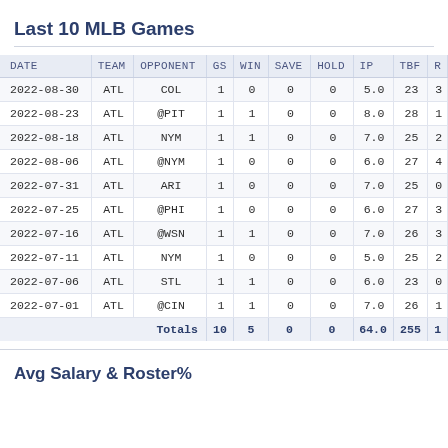Last 10 MLB Games
| DATE | TEAM | OPPONENT | GS | WIN | SAVE | HOLD | IP | TBF | R |
| --- | --- | --- | --- | --- | --- | --- | --- | --- | --- |
| 2022-08-30 | ATL | COL | 1 | 0 | 0 | 0 | 5.0 | 23 | 3 |
| 2022-08-23 | ATL | @PIT | 1 | 1 | 0 | 0 | 8.0 | 28 | 1 |
| 2022-08-18 | ATL | NYM | 1 | 1 | 0 | 0 | 7.0 | 25 | 2 |
| 2022-08-06 | ATL | @NYM | 1 | 0 | 0 | 0 | 6.0 | 27 | 4 |
| 2022-07-31 | ATL | ARI | 1 | 0 | 0 | 0 | 7.0 | 25 | 0 |
| 2022-07-25 | ATL | @PHI | 1 | 0 | 0 | 0 | 6.0 | 27 | 3 |
| 2022-07-16 | ATL | @WSN | 1 | 1 | 0 | 0 | 7.0 | 26 | 3 |
| 2022-07-11 | ATL | NYM | 1 | 0 | 0 | 0 | 5.0 | 25 | 2 |
| 2022-07-06 | ATL | STL | 1 | 1 | 0 | 0 | 6.0 | 23 | 0 |
| 2022-07-01 | ATL | @CIN | 1 | 1 | 0 | 0 | 7.0 | 26 | 1 |
Avg Salary & Roster%